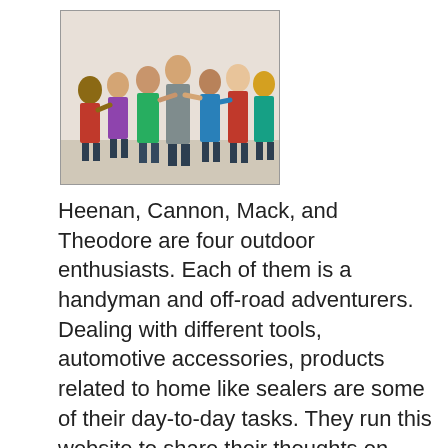[Figure (photo): Group of people posing together indoors, appears to be a casual group photo]
Heenan, Cannon, Mack, and Theodore are four outdoor enthusiasts. Each of them is a handyman and off-road adventurers. Dealing with different tools, automotive accessories, products related to home like sealers are some of their day-to-day tasks. They run this website to share their thoughts on various items they think are good or bad for others. Learn how they started as The Handyman Guru,